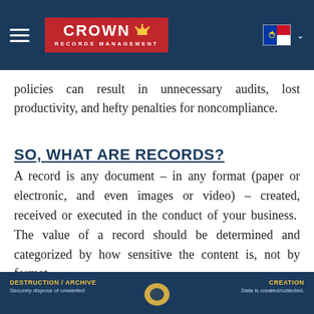Crown Records Management - navigation header with logo and Philippine flag
policies can result in unnecessary audits, lost productivity, and hefty penalties for noncompliance.
SO, WHAT ARE RECORDS?
A record is any document – in any format (paper or electronic, and even images or video) – created, received or executed in the conduct of your business.  The value of a record should be determined and categorized by how sensitive the content is, not by format.
DESTRUCTION / ARCHIVE: Securely dispose of unwanted [records] | CREATION: Data is created/collected,